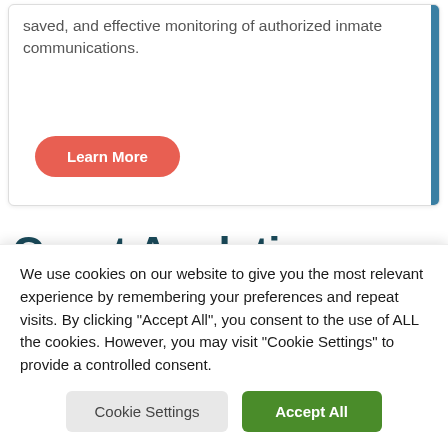saved, and effective monitoring of authorized inmate communications.
Learn More
Court Analyti...
We use cookies on our website to give you the most relevant experience by remembering your preferences and repeat visits. By clicking "Accept All", you consent to the use of ALL the cookies. However, you may visit "Cookie Settings" to provide a controlled consent.